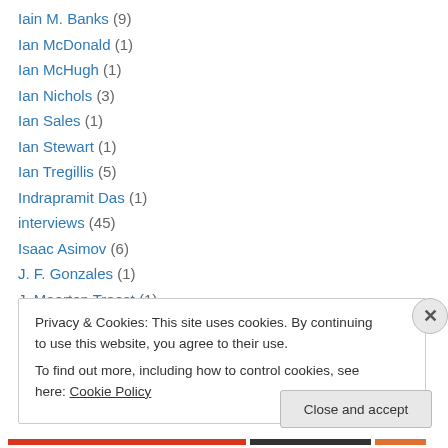Iain M. Banks (9)
Ian McDonald (1)
Ian McHugh (1)
Ian Nichols (3)
Ian Sales (1)
Ian Stewart (1)
Ian Tregillis (5)
Indrapramit Das (1)
interviews (45)
Isaac Asimov (6)
J. F. Gonzales (1)
J. Maarten Troost (1)
J. Michael Straczynski (4)
Privacy & Cookies: This site uses cookies. By continuing to use this website, you agree to their use. To find out more, including how to control cookies, see here: Cookie Policy
Close and accept